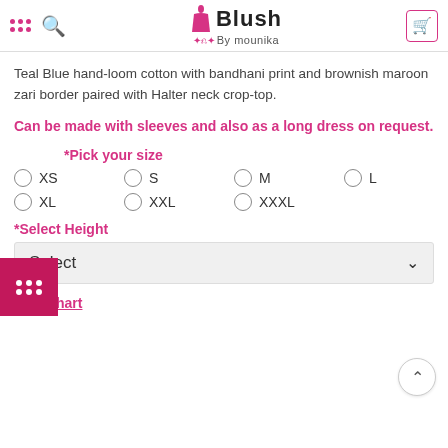Blush By mounika
Teal Blue hand-loom cotton with bandhani print and brownish maroon zari border paired with Halter neck crop-top.
Can be made with sleeves and also as a long dress on request.
*Pick your size
XS
S
M
L
XL
XXL
XXXL
*Select Height
Select
Size Chart